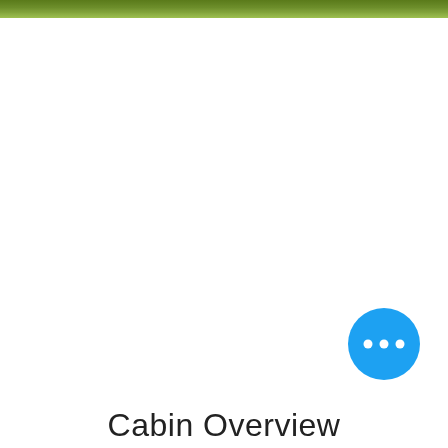[Figure (photo): Narrow green landscape/grass photo strip at the top of the page]
[Figure (other): Blue circular floating action button with three white dots (ellipsis) in the lower right area]
Cabin Overview